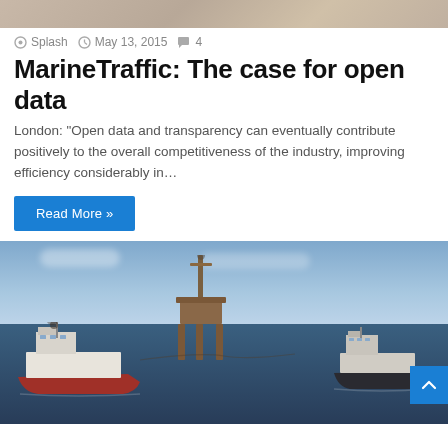[Figure (photo): Partial view of a person's image cropped at top of page]
Splash  May 13, 2015  4
MarineTraffic: The case for open data
London: "Open data and transparency can eventually contribute positively to the overall competitiveness of the industry, improving efficiency considerably in…
Read More »
[Figure (photo): Two tugboats flanking an offshore oil drilling platform on open blue sea under a partly cloudy sky]